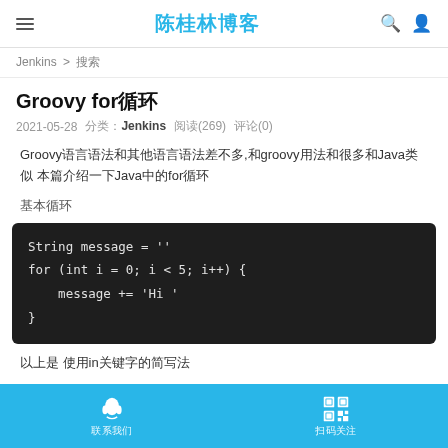陈桂林博客
Jenkins > 搜索
Groovy for循环
2021-05-28  分类：Jenkins  阅读(269)  评论(0)
Groovy语言语法和其他语言语法差不多,和groovy用法和很多和Java类似 本篇介绍一下Java中的for循环
基本循环
String message = ''
for (int i = 0; i < 5; i++) {
    message += 'Hi '
}
以上是 使用in关键字的简写法
联系我们  扫码关注